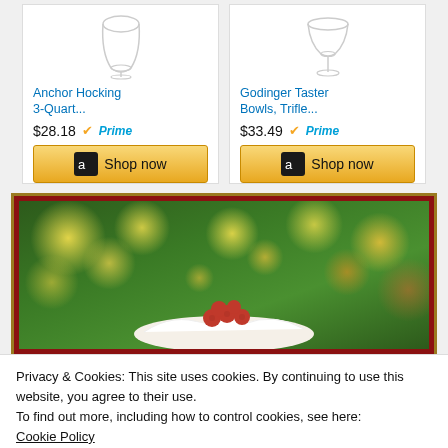[Figure (screenshot): Amazon product card for Anchor Hocking 3-Quart... showing a glass bowl, price $28.18, Prime badge, and Shop now button]
[Figure (screenshot): Amazon product card for Godinger Taster Bowls, Trifle... showing a stemmed glass bowl, price $33.49, Prime badge, and Shop now button]
[Figure (photo): Holiday food photo showing a dessert with raspberries and whipped cream against a bokeh Christmas lights background]
Privacy & Cookies: This site uses cookies. By continuing to use this website, you agree to their use.
To find out more, including how to control cookies, see here:
Cookie Policy
[Figure (screenshot): Close and accept button for cookie notice]
[Figure (photo): Bottom portion of another holiday food photo, partially visible]